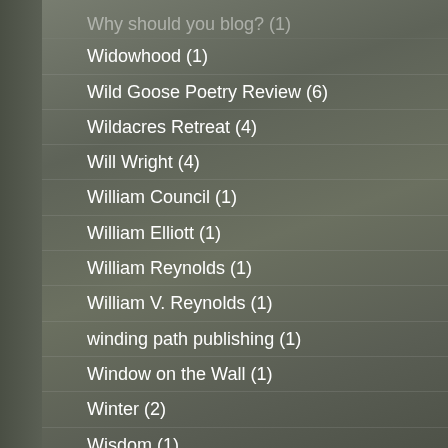Why should you blog? (1)
Widowhood (1)
Wild Goose Poetry Review (6)
Wildacres Retreat (4)
Will Wright (4)
William Council (1)
William Elliott (1)
William Reynolds (1)
William V. Reynolds (1)
winding path publishing (1)
Window on the Wall (1)
Winter (2)
Wisdom (1)
WJUL/WJRB AM (1)
WNC Woman (1)
WNO (1)
woman in the mirror (4)
women voting rights (1)
Women's Spaces Women's Places (2)